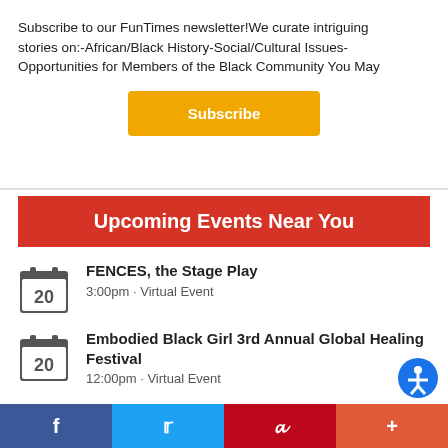Subscribe to our FunTimes newsletter!We curate intriguing stories on:-African/Black History-Social/Cultural Issues-Opportunities for Members of the Black Community You May
Subscribe
Upcoming Events Near You
FENCES, the Stage Play
3:00pm · Virtual Event
Embodied Black Girl 3rd Annual Global Healing Festival
12:00pm · Virtual Event
f  t  p  +